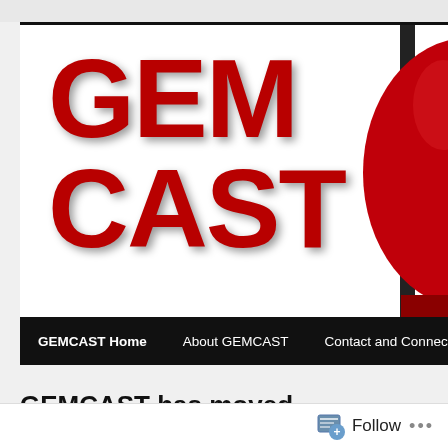[Figure (logo): GEMCAST website banner showing large red bold text 'GEM' and 'CAST' on white background with a red microphone/object on the right side, navigation bar below with links: GEMCAST Home, About GEMCAST, Contact and Connect, Wh...]
GEMCAST has moved
Follow ...